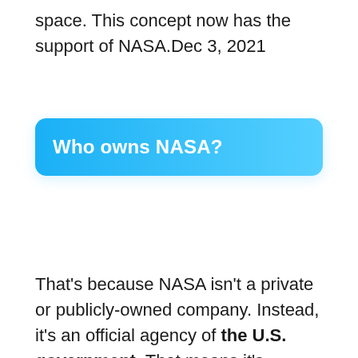space. This concept now has the support of NASA.Dec 3, 2021
Who owns NASA?
That's because NASA isn't a private or publicly-owned company. Instead, it's an official agency of the U.S. government. That means it's